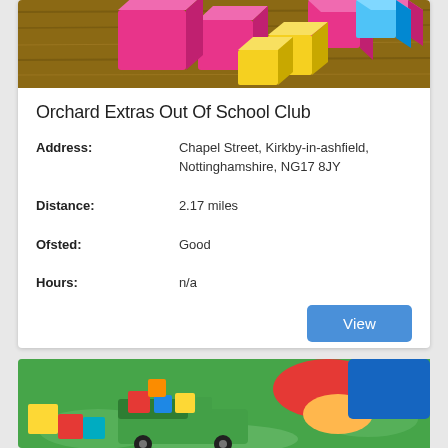[Figure (photo): Colorful wooden toy building blocks in pink, yellow, and blue on a wooden surface]
Orchard Extras Out Of School Club
Address: Chapel Street, Kirkby-in-ashfield, Nottinghamshire, NG17 8JY
Distance: 2.17 miles
Ofsted: Good
Hours: n/a
[Figure (photo): Child playing with colorful wooden toy blocks in a green toy truck on grass]